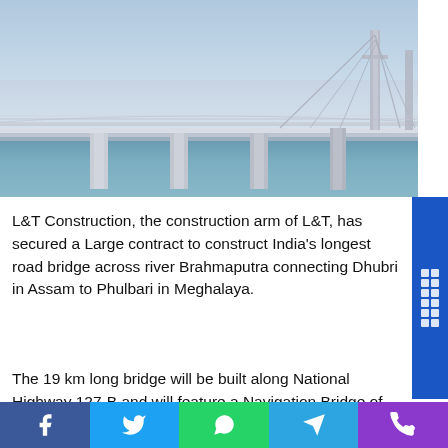[Figure (photo): Photo of a long road bridge over water (river or sea), with tall support columns and a cable-stayed section visible in the background, taken at dusk with a light blue sky and calm water.]
L&T Construction, the construction arm of L&T, has secured a Large contract to construct India's longest road bridge across river Brahmaputra connecting Dhubri in Assam to Phulbari in Meghalaya.
The 19 km long bridge will be built along National Highway 127-B and will feature a Navigation Bridge of
Facebook Twitter WhatsApp Telegram Phone